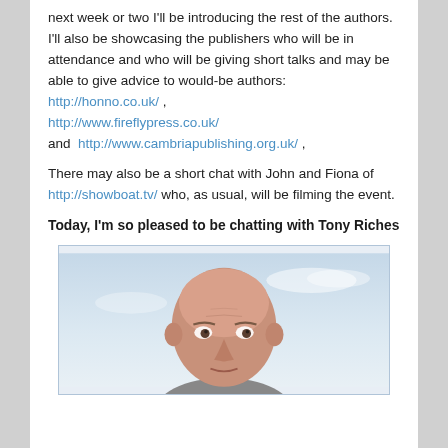next week or two I'll be introducing the rest of the authors. I'll also be showcasing the publishers who will be in attendance and who will be giving short talks and may be able to give advice to would-be authors: http://honno.co.uk/ , http://www.fireflypress.co.uk/ and http://www.cambriapublishing.org.uk/ ,
There may also be a short chat with John and Fiona of http://showboat.tv/ who, as usual, will be filming the event.
Today, I'm so pleased to be chatting with Tony Riches
[Figure (photo): Headshot photo of Tony Riches, a bald middle-aged man photographed against a light blue sky background.]